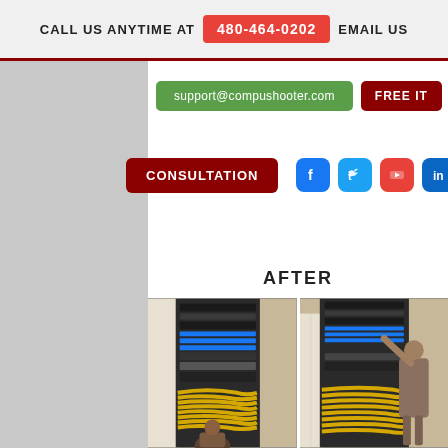CALL US ANYTIME AT 480-464-0202 EMAIL US
support@compushooter.com
FREE IT
CONSULTATION
[Figure (other): Social media icons: Facebook, Twitter, YouTube, LinkedIn]
AFTER
[Figure (photo): Two side-by-side photos of server rack cable management work - technicians working on network rack with yellow cables]